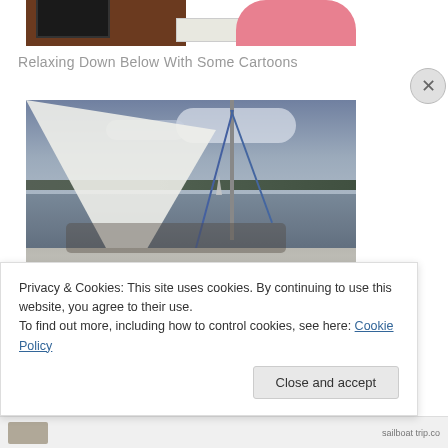[Figure (photo): Partial photo of a person in pink clothing at a desk with a monitor and white box/container, cropped at top of page]
Relaxing Down Below With Some Cartoons
[Figure (photo): Sailing photo taken from the deck of a sailboat looking forward, showing large white sail, mast with blue rigging lines, open water with distant sailboat, and cloudy sky]
Privacy & Cookies: This site uses cookies. By continuing to use this website, you agree to their use.
To find out more, including how to control cookies, see here: Cookie Policy